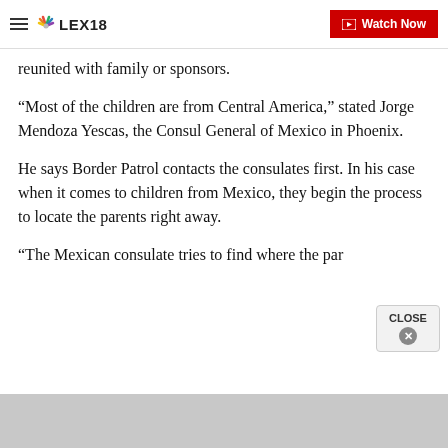LEX18 — Watch Now
reunited with family or sponsors.
“Most of the children are from Central America,” stated Jorge Mendoza Yescas, the Consul General of Mexico in Phoenix.
He says Border Patrol contacts the consulates first. In his case when it comes to children from Mexico, they begin the process to locate the parents right away.
“The Mexican consulate tries to find where the par